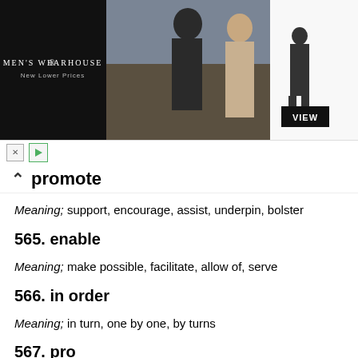[Figure (illustration): Men's Wearhouse advertisement banner showing a couple in formal wear, a suited man silhouette, and a VIEW button]
promote
Meaning; support, encourage, assist, underpin, bolster
565. enable
Meaning; make possible, facilitate, allow of, serve
566. in order
Meaning; in turn, one by one, by turns
567. pro
Meaning; professional